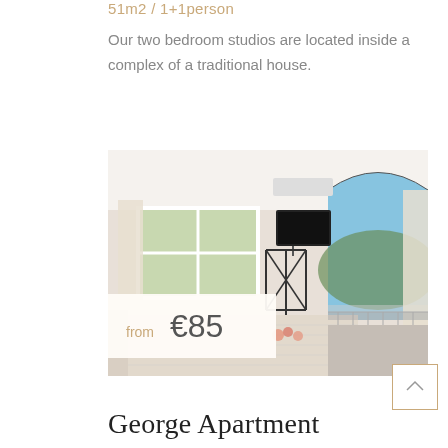51m2 / 1+1person
Our two bedroom studios are located inside a complex of a traditional house.
[Figure (photo): Bright white bedroom with a large bed, wall-mounted TV, balcony doors open to a scenic mountain view, sheer curtains, and a clothes rack]
from €85
George Apartment